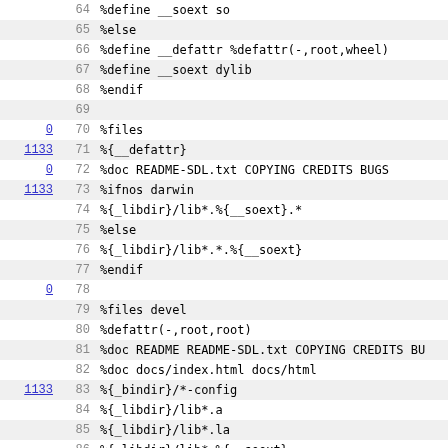| link | line | code |
| --- | --- | --- |
|  | 64 | %define __soext so |
|  | 65 | %else |
|  | 66 | %define __defattr %defattr(-,root,wheel) |
|  | 67 | %define __soext dylib |
|  | 68 | %endif |
|  | 69 |  |
| 0 | 70 | %files |
| 1133 | 71 | %{__defattr} |
| 0 | 72 | %doc README-SDL.txt COPYING CREDITS BUGS |
| 1133 | 73 | %ifnos darwin |
|  | 74 | %{_libdir}/lib*.%{__soext}.* |
|  | 75 | %else |
|  | 76 | %{_libdir}/lib*.*.%{__soext} |
|  | 77 | %endif |
| 0 | 78 |  |
|  | 79 | %files devel |
|  | 80 | %defattr(-,root,root) |
|  | 81 | %doc README README-SDL.txt COPYING CREDITS BU |
|  | 82 | %doc docs/index.html docs/html |
| 1133 | 83 | %{_bindir}/*-config |
|  | 84 | %{_libdir}/lib*.a |
|  | 85 | %{_libdir}/lib*.la |
|  | 86 | %{_libdir}/lib*.%{__soext} |